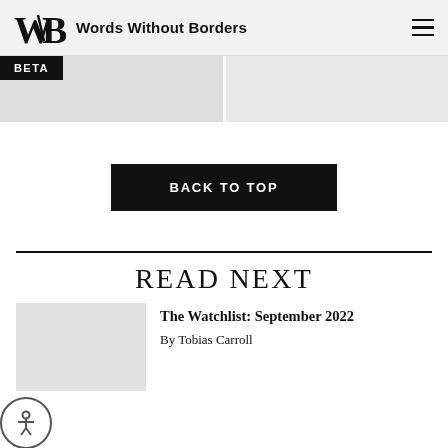Words Without Borders
[Figure (other): Beta label over two gray image placeholder panels]
BACK TO TOP
READ NEXT
[Figure (photo): Gray thumbnail image placeholder for article]
The Watchlist: September 2022
By Tobias Carroll